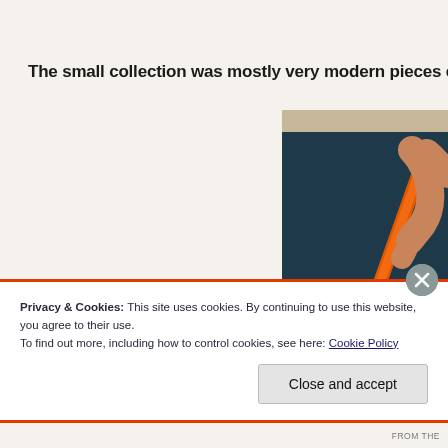The small collection was mostly very modern pieces except for an ex
[Figure (photo): A painting showing an arm reaching upward holding an orange diagonal pole or rod, against a dark teal/navy background. The painting is displayed on a wall with a light beige/khaki top border visible above the dark background. The arm appears in a warm skin tone grasping the bright orange rod which extends diagonally. A metallic bracket or clamp is visible near the lower portion of the rod.]
Privacy & Cookies: This site uses cookies. By continuing to use this website, you agree to their use.
To find out more, including how to control cookies, see here: Cookie Policy
Close and accept